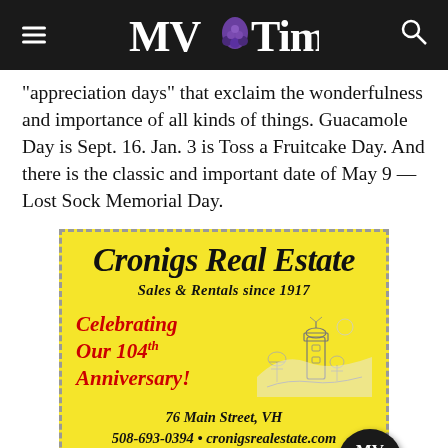MV Times
appreciation days” that exclaim the wonderfulness and importance of all kinds of things. Guacamole Day is Sept. 16. Jan. 3 is Toss a Fruitcake Day. And there is the classic and important date of May 9 — Lost Sock Memorial Day.
[Figure (illustration): Cronigs Real Estate advertisement. Yellow background with dashed border. Logo reads 'Cronigs Real Estate' in large cursive script. Subtitle: 'Sales & Rentals since 1917'. Red italic text: 'Celebrating Our 104th Anniversary!' with a sketch of a lighthouse/castle. Footer: '76 Main Street, VH / 508-693-0394 • cronigsrealestate.com'. MV Times badge in bottom right corner.]